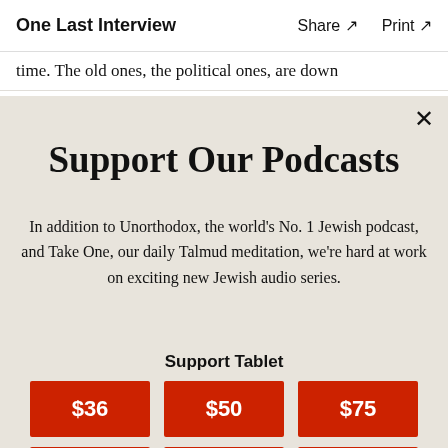One Last Interview   Share ↗   Print ↗
time. The old ones, the political ones, are down
Support Our Podcasts
In addition to Unorthodox, the world's No. 1 Jewish podcast, and Take One, our daily Talmud meditation, we're hard at work on exciting new Jewish audio series.
Support Tablet
[Figure (infographic): Three red donation buttons labeled $36, $50, $75]
[Figure (infographic): Three more red donation buttons partially visible at bottom]